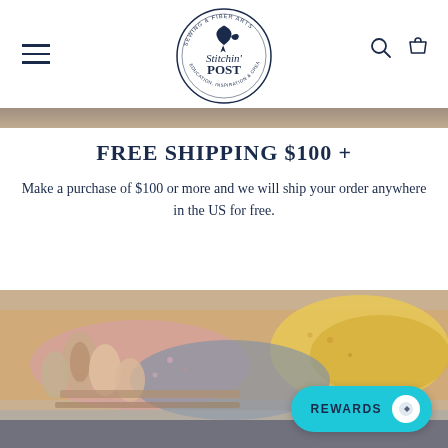Stitchin' Post — Sewing & Fiber Arts — Education, Inspiration & Creativity
[Figure (logo): Stitchin' Post circular logo with hummingbird, text: Sewing & Fiber Arts, Education, Inspiration & Creativity]
FREE SHIPPING $100 +
Make a purchase of $100 or more and we will ship your order anywhere in the US for free.
[Figure (photo): Stack of rolled fabric bolts in various floral and patterned designs in warm tones of yellow, pink, blue, and grey.]